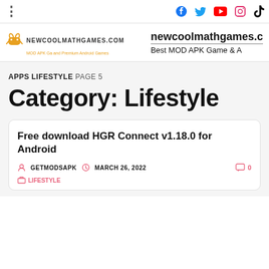newcoolmathgames.com — Best MOD APK Game & Apps — Social icons: Facebook, Twitter, YouTube, Instagram, TikTok
[Figure (logo): NEWCOOLMATHGAMES.COM logo with Android robot icon and tagline in orange]
APPS LIFESTYLE PAGE 5
Category: Lifestyle
Free download HGR Connect v1.18.0 for Android
GETMODSAPK   MARCH 26, 2022   0